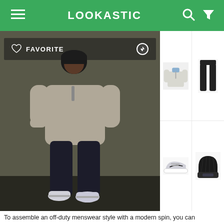LOOKASTIC
[Figure (photo): Man wearing a grey half-zip sweater, black jogger pants, and white sneakers, looking down. He wears a black beanie. Dark background.]
FAVORITE
[Figure (photo): Grey half-zip pullover sweater with light blue collar]
[Figure (photo): Black slim fit pants/jeans]
[Figure (photo): Grey and white Nike running sneakers]
[Figure (photo): Black knit beanie hat]
To assemble an off-duty menswear style with a modern spin, you can